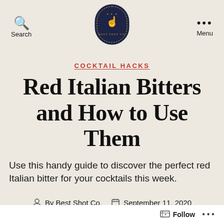Search  [Best Shot Co. Logo]  Menu
COCKTAIL HACKS
Red Italian Bitters and How to Use Them
Use this handy guide to discover the perfect red Italian bitter for your cocktails this week.
By Best Shot Co.   September 11, 2020
Follow ...